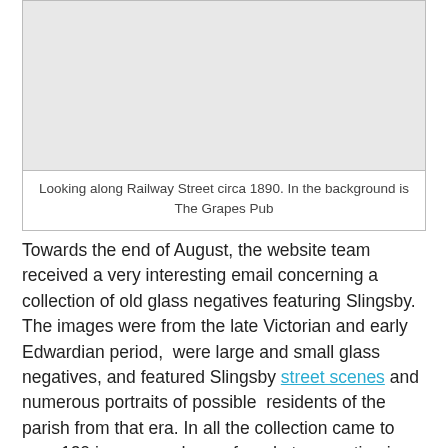[Figure (photo): A historical photograph showing a view looking along Railway Street circa 1890, with The Grapes Pub visible in the background. The image area appears as a light grey placeholder.]
Looking along Railway Street circa 1890. In the background is The Grapes Pub
Towards the end of August, the website team received a very interesting email concerning a collection of old glass negatives featuring Slingsby. The images were from the late Victorian and early Edwardian period,  were large and small glass negatives, and featured Slingsby street scenes and numerous portraits of possible  residents of the parish from that era. In all the collection came to over 120 images and were found at an auction in Saltburn.